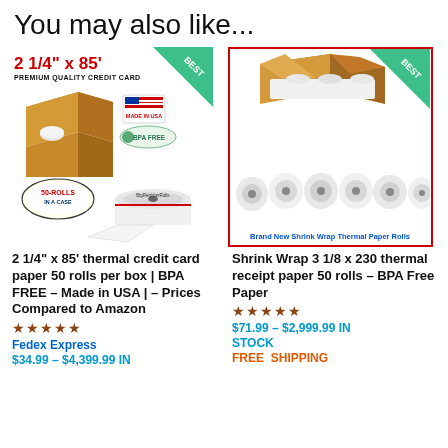You may also like...
[Figure (photo): Product image for thermal credit card paper rolls - 2 1/4 x 85 ft, 50 rolls per box, BPA FREE, Made in USA, with BEST badge]
[Figure (photo): Product image for Shrink Wrap Thermal Paper Rolls - box and rolls, with BEST badge and red border]
Brand New Shrink Wrap Thermal Paper Rolls
2 1/4” x 85’ thermal credit card paper 50 rolls per box | BPA FREE – Made in USA | – Prices Compared to Amazon
★★★★★
Fedex Express
$34.99 – $4,399.99 IN
Shrink Wrap 3 1/8 x 230 thermal receipt paper 50 rolls – BPA Free Paper
★★★★★
$71.99 – $2,999.99 IN STOCK
Free Shipping